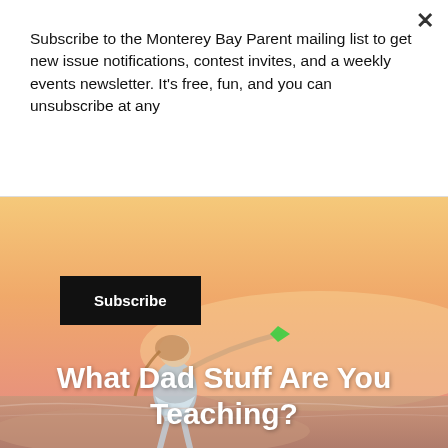Subscribe to the Monterey Bay Parent mailing list to get new issue notifications, contest invites, and a weekly events newsletter. It's free, fun, and you can unsubscribe at any
Subscribe
[Figure (photo): A young girl at the beach at sunset, arm outstretched holding a small green object, warm orange-pink sky background.]
What Dad Stuff Are You Teaching?